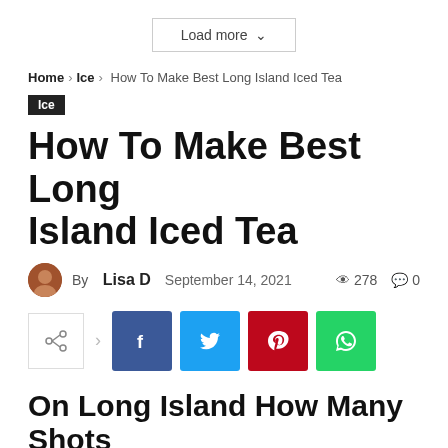[Figure (other): Load more button with dropdown chevron]
Home › Ice › How To Make Best Long Island Iced Tea
Ice
How To Make Best Long Island Iced Tea
By Lisa D  September 14, 2021  278  0
[Figure (other): Social share buttons: share, facebook, twitter, pinterest, whatsapp]
On Long Island How Many Shots